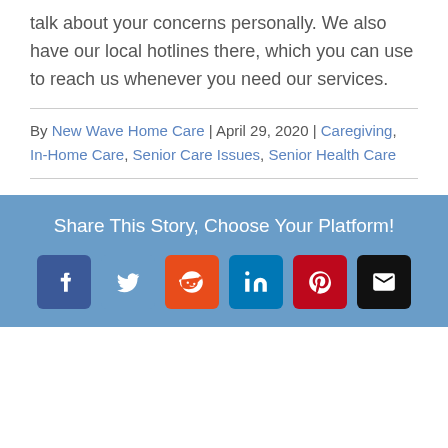talk about your concerns personally. We also have our local hotlines there, which you can use to reach us whenever you need our services.
By New Wave Home Care | April 29, 2020 | Caregiving, In-Home Care, Senior Care Issues, Senior Health Care
Share This Story, Choose Your Platform!
[Figure (infographic): Social sharing buttons: Facebook, Twitter, Reddit, LinkedIn, Pinterest, Email]